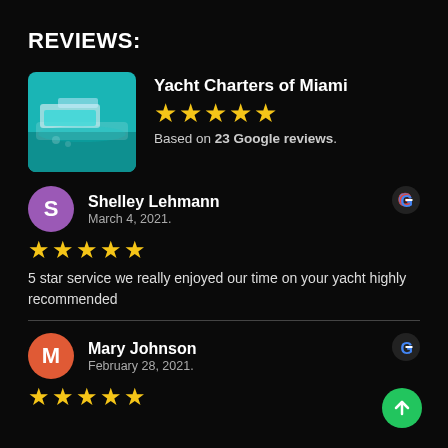REVIEWS:
[Figure (photo): Photo of a yacht (Yacht Charters of Miami) on turquoise water]
Yacht Charters of Miami
Based on 23 Google reviews.
Shelley Lehmann
March 4, 2021.
5 star service we really enjoyed our time on your yacht highly recommended
Mary Johnson
February 28, 2021.